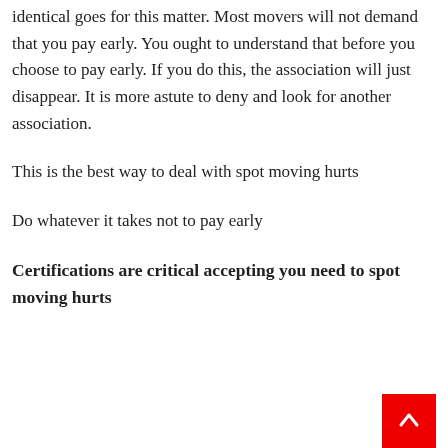identical goes for this matter. Most movers will not demand that you pay early. You ought to understand that before you choose to pay early. If you do this, the association will just disappear. It is more astute to deny and look for another association.
This is the best way to deal with spot moving hurts
Do whatever it takes not to pay early
Certifications are critical accepting you need to spot moving hurts